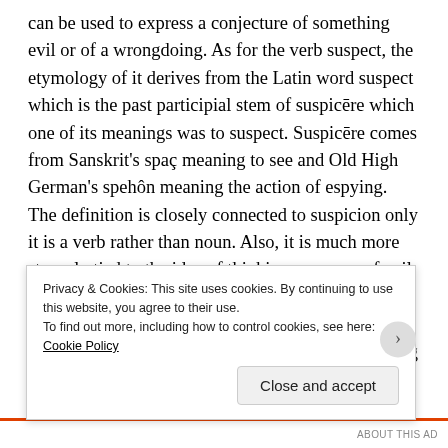can be used to express a conjecture of something evil or of a wrongdoing. As for the verb suspect, the etymology of it derives from the Latin word suspect which is the past participial stem of suspicēre which one of its meanings was to suspect. Suspicēre comes from Sanskrit's spaç meaning to see and Old High German's spehôn meaning the action of espying. The definition is closely connected to suspicion only it is a verb rather than noun. Also, it is much more strongly tied to the idea of thinking someone of evil doings. For the most part, to suspect someone is not to think of them as doing something good. It means to imagine something or someone as evil or of doing something wrong without sufficient evidence. It can also
Privacy & Cookies: This site uses cookies. By continuing to use this website, you agree to their use.
To find out more, including how to control cookies, see here: Cookie Policy
Close and accept